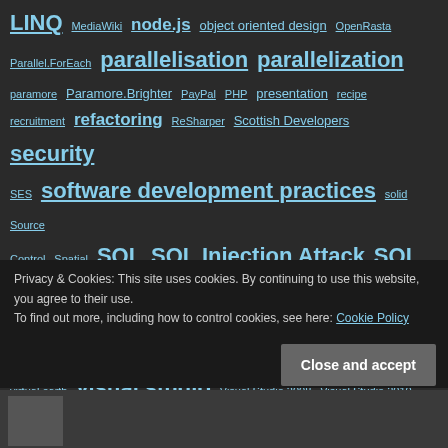LINQ MediaWiki node.js object oriented design OpenRasta Parallel.ForEach parallelisation parallelization paramore Paramore.Brighter PayPal PHP presentation recipe recruitment refactoring ReSharper Scottish Developers security SES software development practices solid Source Control Spatial SQL SQL Injection Attack SQL Server SQL Server 2005 SQL Server 2008 storymapping TaskCanceledException Task Parallel Library Tasks testing TFS unit testing virtual earth visual studio Visual Studio 2008 Visual Studio 2010 web Windows 7 Windows Vista Xander.PasswordValidator
Privacy & Cookies: This site uses cookies. By continuing to use this website, you agree to their use.
To find out more, including how to control cookies, see here: Cookie Policy
Close and accept